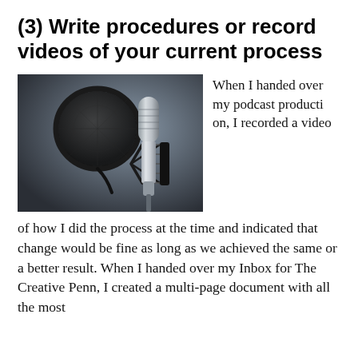(3) Write procedures or record videos of your current process
[Figure (photo): A professional studio condenser microphone with a pop filter on a shock mount, set against a dark grey gradient background.]
When I handed over my podcast production, I recorded a video of how I did the process at the time and indicated that change would be fine as long as we achieved the same or a better result. When I handed over my Inbox for The Creative Penn, I created a multi-page document with all the most